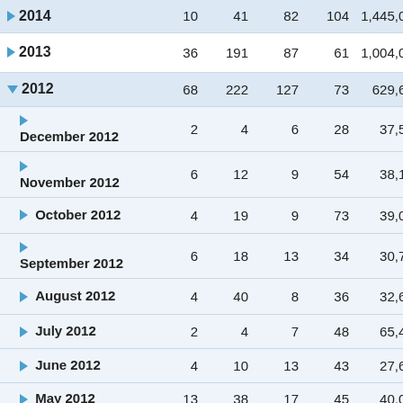|  |  |  |  |  |  |
| --- | --- | --- | --- | --- | --- |
| ▶ 2014 (partial) | 10 | 41 | 82 | 104 | 1,445,076 |
| ▶ 2013 | 36 | 191 | 87 | 61 | 1,004,030 |
| ▼ 2012 | 68 | 222 | 127 | 73 | 629,657 |
|   ▶ December 2012 | 2 | 4 | 6 | 28 | 37,585 |
|   ▶ November 2012 | 6 | 12 | 9 | 54 | 38,155 |
|   ▶ October 2012 | 4 | 19 | 9 | 73 | 39,070 |
|   ▶ September 2012 | 6 | 18 | 13 | 34 | 30,710 |
|   ▶ August 2012 | 4 | 40 | 8 | 36 | 32,694 |
|   ▶ July 2012 | 2 | 4 | 7 | 48 | 65,466 |
|   ▶ June 2012 | 4 | 10 | 13 | 43 | 27,686 |
|   ▶ May 2012 | 13 | 38 | 17 | 45 | 40,091 |